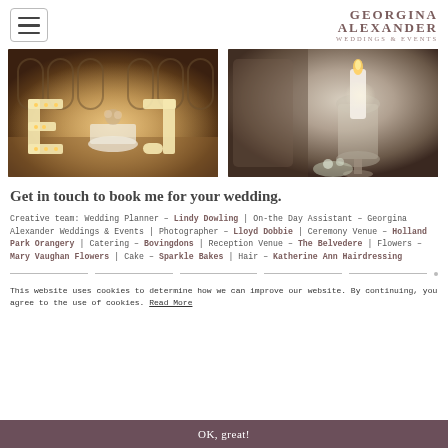GEORGINA ALEXANDER WEDDINGS & EVENTS
[Figure (photo): Wedding reception hall with large illuminated letter E and J signs on a dance floor with arched windows and warm lighting]
[Figure (photo): Close-up of a white candle in a glass hurricane holder with flowers, blurred background]
Get in touch to book me for your wedding.
Creative team: Wedding Planner – Lindy Dowling | On-the Day Assistant – Georgina Alexander Weddings & Events | Photographer – Lloyd Dobbie | Ceremony Venue – Holland Park Orangery | Catering – Bovingdons | Reception Venue – The Belvedere | Flowers – Mary Vaughan Flowers | Cake – Sparkle Bakes | Hair – Katherine Ann Hairdressing
This website uses cookies to determine how we can improve our website. By continuing, you agree to the use of cookies. Read More
OK, great!